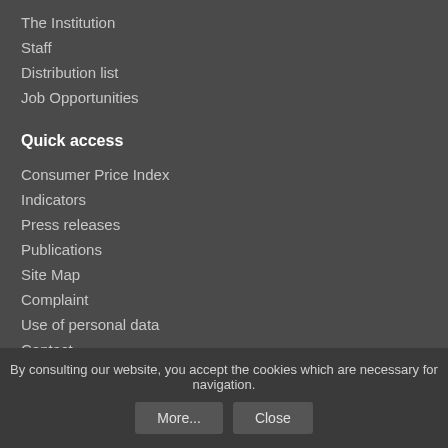The Institution
Staff
Distribution list
Job Opportunities
Quick access
Consumer Price Index
Indicators
Press releases
Publications
Site Map
Complaint
Use of personal data
Contact
Follow us
LinkedIn page
Our address
Federal Planning Bureau
By consulting our website, you accept the cookies which are necessary for navigation.
More...
Close